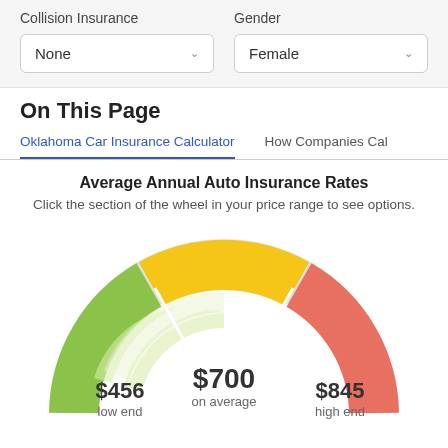Collision Insurance
None
Gender
Female
On This Page
Oklahoma Car Insurance Calculator
How Companies Cal
Average Annual Auto Insurance Rates
Click the section of the wheel in your price range to see options.
[Figure (donut-chart): Semi-circular donut/gauge chart showing auto insurance rates: $456 low end (green), $700 on average (yellow/gold), $845 high end (red/salmon). Center shows $700 on average.]